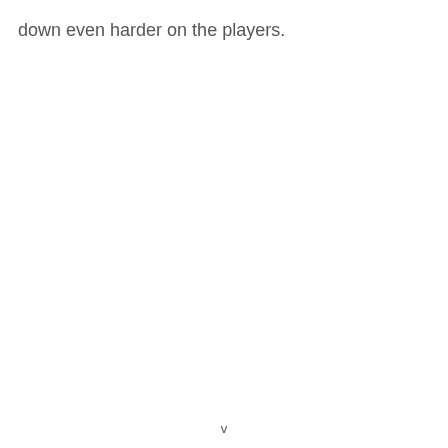down even harder on the players.
v